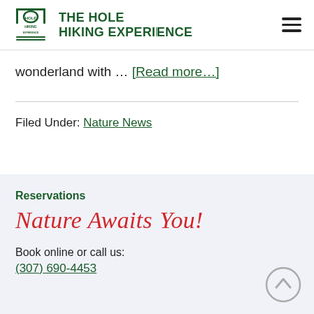THE HOLE HIKING EXPERIENCE
wonderland with … [Read more…]
Filed Under: Nature News
Reservations
Nature Awaits You!
Book online or call us:
(307) 690-4453